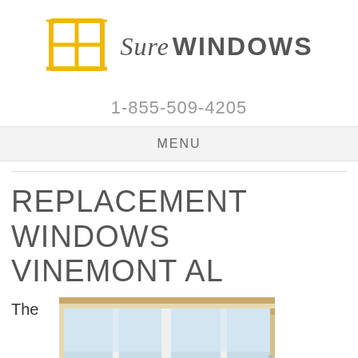[Figure (logo): Sure Windows logo: yellow window grid icon with italic 'Sure' and bold 'WINDOWS' text]
1-855-509-4205
MENU
REPLACEMENT WINDOWS VINEMONT AL
The
[Figure (photo): Interior photo of white casement replacement windows with molding trim, showing sky outside]